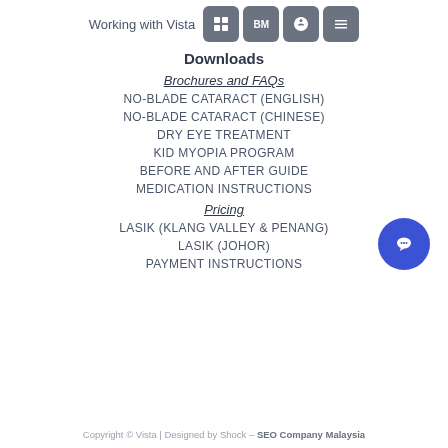Working with Vista
Downloads
Brochures and FAQs
NO-BLADE CATARACT (ENGLISH)
NO-BLADE CATARACT (CHINESE)
DRY EYE TREATMENT
KID MYOPIA PROGRAM
BEFORE AND AFTER GUIDE
MEDICATION INSTRUCTIONS
Pricing
LASIK (KLANG VALLEY & PENANG)
LASIK (JOHOR)
PAYMENT INSTRUCTIONS
Copyright © Vista | Designed by Shock – SEO Company Malaysia